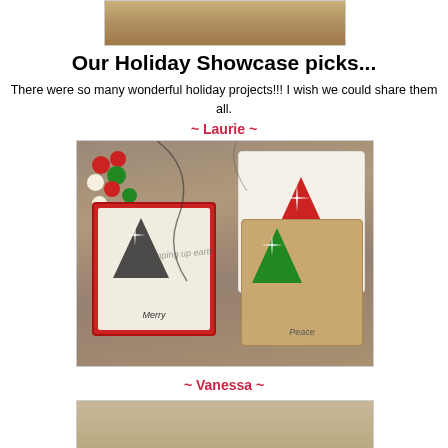[Figure (photo): Top portion of a photo showing a holiday project on a wooden surface]
Our Holiday Showcase picks...
There were so many wonderful holiday projects!!! I wish we could share them all.
~ Laurie ~
[Figure (photo): Christmas gift tags with holiday decorations including trees, snowflakes, holly, and words Joy, Merry, Peace on a wooden surface with berry garland]
~ Vanessa ~
[Figure (photo): Bottom of next photo partially visible]